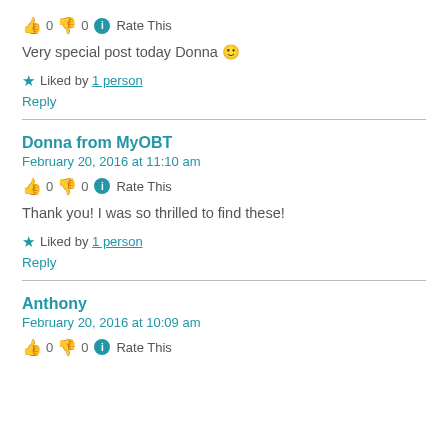👍 0 👎 0 ℹ Rate This
Very special post today Donna 🙂
★ Liked by 1 person
Reply
Donna from MyOBT
February 20, 2016 at 11:10 am
👍 0 👎 0 ℹ Rate This
Thank you! I was so thrilled to find these!
★ Liked by 1 person
Reply
Anthony
February 20, 2016 at 10:09 am
👍 0 👎 0 ℹ Rate This